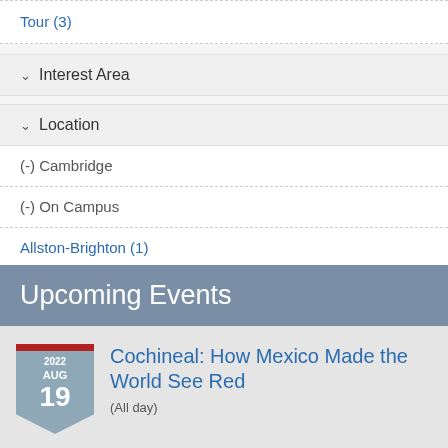Tour (3)
Interest Area
Location
(-) Cambridge
(-) On Campus
Allston-Brighton (1)
Upcoming Events
Cochineal: How Mexico Made the World See Red
(All day)